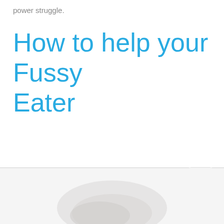power struggle.
How to help your Fussy Eater
[Figure (photo): Partial view of food or a child eating at the bottom of the page, light/white tones]